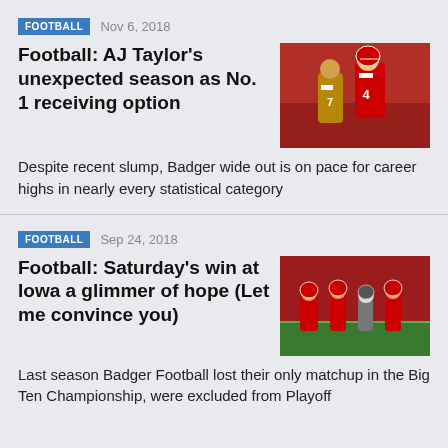FOOTBALL  Nov 6, 2018
Football: AJ Taylor's unexpected season as No. 1 receiving option
[Figure (photo): Football player in red Wisconsin Badgers uniform celebrating, number 4]
Despite recent slump, Badger wide out is on pace for career highs in nearly every statistical category
FOOTBALL  Sep 24, 2018
Football: Saturday's win at Iowa a glimmer of hope (Let me convince you)
[Figure (photo): Football game action shot with players in red and white uniforms on the field]
Last season Badger Football lost their only matchup in the Big Ten Championship, were excluded from Playoff